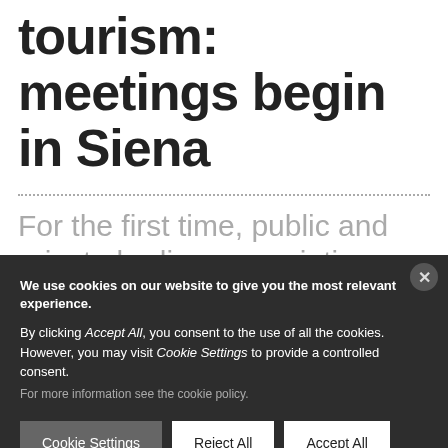tourism: meetings begin in Siena
For the first time, public and private bodies, associations and Co...
We use cookies on our website to give you the most relevant experience. By clicking Accept All, you consent to the use of all the cookies. However, you may visit Cookie Settings to provide a controlled consent. For more information see the cookie policy.